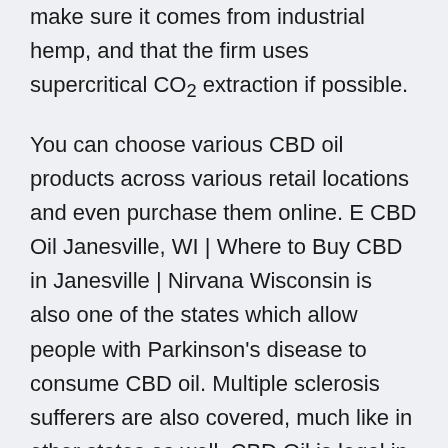make sure it comes from industrial hemp, and that the firm uses supercritical CO2 extraction if possible.
You can choose various CBD oil products across various retail locations and even purchase them online. E CBD Oil Janesville, WI | Where to Buy CBD in Janesville | Nirvana Wisconsin is also one of the states which allow people with Parkinson's disease to consume CBD oil. Multiple sclerosis sufferers are also covered, much like in other states as well. CBD Oil is legal in Janesville, WI and will remain so until the law changes or Wisconsin decides to regulate CBD at the state level. Janesville CBD Laws CBD Oil Wisconsin - Cannabidiol Life Cannabidiol sourced from hemp is completely legal in all 50 of the United States on the federal level due to the Hemp Farm Act enacted by Congress in 2018.